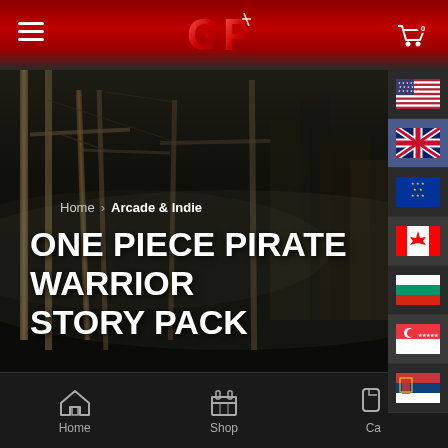GP (Gaming Platform) header with logo, hamburger menu, cart icon
Home > Arcade & Indie
ONE PIECE PIRATE WARRIOR STORY PACK
[Figure (screenshot): Game screenshot showing One Piece Pirate Warriors battle scene with characters and blue energy effects]
[Figure (other): Flag selection sidebar showing USA, UK, EU, Canada, Bulgaria, Singapore, Serbia flags]
Home  Shop  Ca(rt)